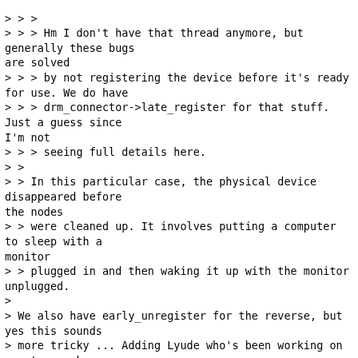> > >
> > > Hm I don't have that thread anymore, but generally these bugs are solved
> > > by not registering the device before it's ready for use. We do have
> > > drm_connector->late_register for that stuff. Just a guess since I'm not
> > > seeing full details here.
> >
> > In this particular case, the physical device disappeared before the nodes
> > were cleaned up. It involves putting a computer to sleep with a monitor
> > plugged in and then waking it up with the monitor unplugged.
>
> We also have early_unregister for the reverse, but yes this sounds
> more tricky ... Adding Lyude who's been working on way too much
> lifetime fun around dp recently.
> -Daniel
>
Hi-I think just checking whether the suxdev is NULL or not is a